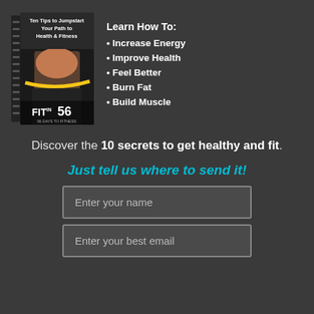[Figure (illustration): Book cover for 'Ten Tips to Jumpstart Your Path to Health & Fitness' also branded as FIT IN 56, 56 Days To Fitness, showing a fitness person measuring waist with tape measure]
Learn How To:
Increase Energy
Improve Health
Feel Better
Burn Fat
Build Muscle
Discover the 10 secrets to get healthy and fit.
Just tell us where to send it!
Enter your name
Enter your best email